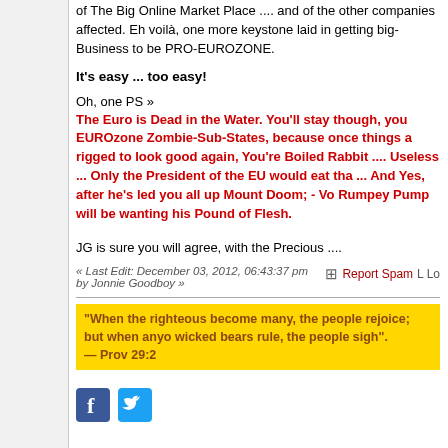of The Big Online Market Place .... and of the other companies affected. Eh voilà, one more keystone laid in getting big-Business to be PRO-EUROZONE.
It's easy ... too easy!
Oh, one PS »
The Euro is Dead in the Water. You'll stay though, you EUROzone Zombie-Sub-States, because once things are rigged to look good again, You're Boiled Rabbit .... Useless ... Only the President of the EU would eat that ... And Yes, after he's led you all up Mount Doom; - Vo... Rumpey Pump will be wanting his Pound of Flesh.
JG is sure you will agree, with the Precious ....
« Last Edit: December 03, 2012, 06:43:37 pm by Jonnie Goodboy »
Report Spam
"When the righteous become many, the people rejoice; but when anyone wicked bears rule, the people sigh". — Prov 29:2
[Figure (logo): Facebook and Twitter social media share icons]